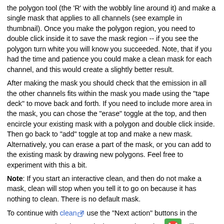the polygon tool (the 'R' with the wobbly line around it) and make a single mask that applies to all channels (see example in thumbnail). Once you make the polygon region, you need to double click inside it to save the mask region -- if you see the polygon turn white you will know you succeeded. Note, that if you had the time and patience you could make a clean mask for each channel, and this would create a slightly better result.
After making the mask you should check that the emission in all the other channels fits within the mask you made using the "tape deck" to move back and forth. If you need to include more area in the mask, you can chose the "erase" toggle at the top, and then encircle your existing mask with a polygon and double click inside. Then go back to "add" toggle at top and make a new mask. Alternatively, you can erase a part of the mask, or you can add to the existing mask by drawing new polygons. Feel free to experiment with this a bit.
Note: If you start an interactive clean, and then do not make a mask, clean will stop when you tell it to go on because it has nothing to clean. There is no default mask.
To continue with clean [link] use the "Next action" buttons in the green area on the Viewer Display GUI: The red X [icon] will stop clean [link] where you are, the blue arrow [icon] will stop the interactive part of clean [link], but continue to clean non-interactively until reaching the stopping niter (note that this is